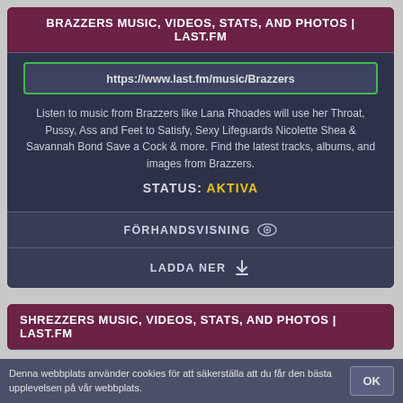BRAZZERS MUSIC, VIDEOS, STATS, AND PHOTOS | LAST.FM
https://www.last.fm/music/Brazzers
Listen to music from Brazzers like Lana Rhoades will use her Throat, Pussy, Ass and Feet to Satisfy, Sexy Lifeguards Nicolette Shea & Savannah Bond Save a Cock & more. Find the latest tracks, albums, and images from Brazzers.
STATUS: AKTIVA
FÖRHANDSVISNING
LADDA NER
SHREZZERS MUSIC, VIDEOS, STATS, AND PHOTOS | LAST.FM
Denna webbplats använder cookies för att säkerställa att du får den bästa upplevelsen på vår webbplats.